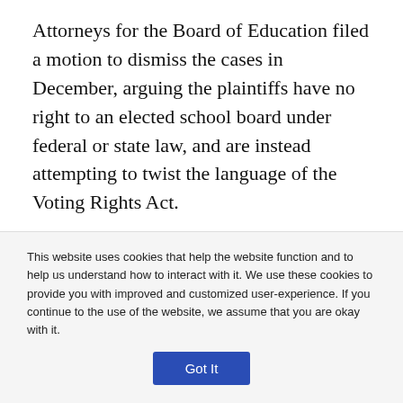Attorneys for the Board of Education filed a motion to dismiss the cases in December, arguing the plaintiffs have no right to an elected school board under federal or state law, and are instead attempting to twist the language of the Voting Rights Act.
“Simply put,” the motion states, “the Act protects an existing right to vote, but it cannot be distorted to create a ‘right’ where such does not exist under the law.”
A federal judge agreed, granting that motion Monday and
This website uses cookies that help the website function and to help us understand how to interact with it. We use these cookies to provide you with improved and customized user-experience. If you continue to the use of the website, we assume that you are okay with it.
Got It